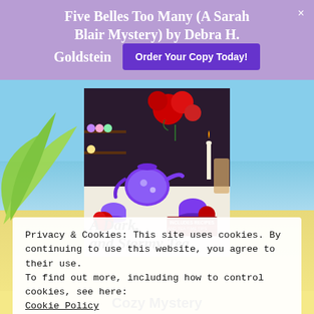Five Belles Too Many (A Sarah Blair Mystery) by Debra H. Goldstein
[Figure (illustration): Purple 'Order Your Copy Today!' button]
[Figure (photo): Book cover: A Dark and Stormy Tea, with purple tea set, red roses, macarons, candles. Includes Recipes and Tea Time Tips badge. Beach and palm leaf background.]
Privacy & Cookies: This site uses cookies. By continuing to use this website, you agree to their use.
To find out more, including how to control cookies, see here:
Cookie Policy
Close and accept
Cozy Mystery